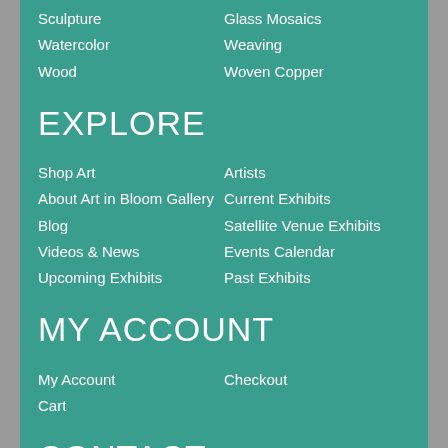Sculpture
Glass Mosaics
Watercolor
Weaving
Wood
Woven Copper
EXPLORE
Shop Art
Artists
About Art in Bloom Gallery
Current Exhibits
Blog
Satellite Venue Exhibits
Videos & News
Events Calendar
Upcoming Exhibits
Past Exhibits
MY ACCOUNT
My Account
Checkout
Cart
CONTACT
Art in Bloom Gallery
210 Princess St. | Wilmington, NC 28401